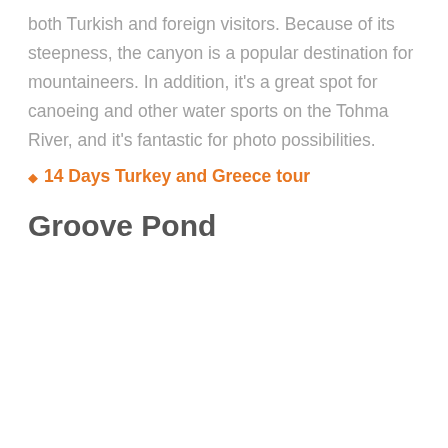both Turkish and foreign visitors. Because of its steepness, the canyon is a popular destination for mountaineers. In addition, it's a great spot for canoeing and other water sports on the Tohma River, and it's fantastic for photo possibilities.
14 Days Turkey and Greece tour
Groove Pond